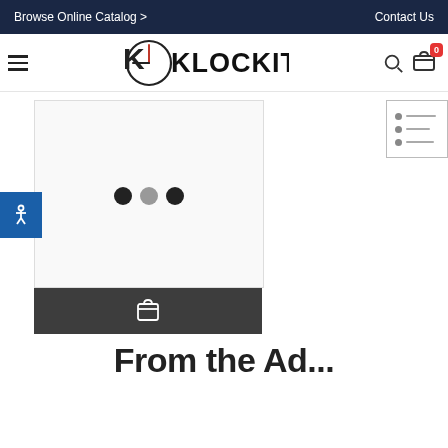Browse Online Catalog > | Contact Us
[Figure (logo): Klockit brand logo with clock icon and KLOCKIT wordmark]
Quartex® Reverse Time Quartz Clock Movement | As low as $8.49
From the Ad...